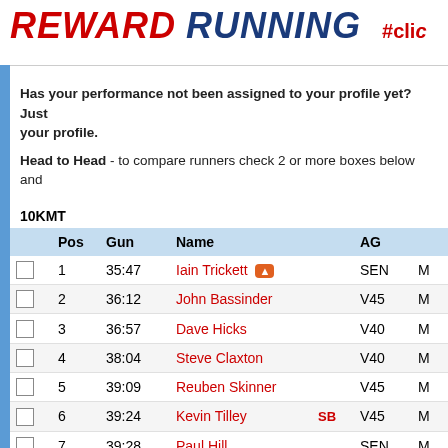REWARD RUNNING #clic
Has your performance not been assigned to your profile yet? Just your profile.
Head to Head - to compare runners check 2 or more boxes below and
10KMT
|  | Pos | Gun | Name |  | AG |  |
| --- | --- | --- | --- | --- | --- | --- |
|  | 1 | 35:47 | Iain Trickett 🔥 |  | SEN | M |
|  | 2 | 36:12 | John Bassinder |  | V45 | M |
|  | 3 | 36:57 | Dave Hicks |  | V40 | M |
|  | 4 | 38:04 | Steve Claxton |  | V40 | M |
|  | 5 | 39:09 | Reuben Skinner |  | V45 | M |
|  | 6 | 39:24 | Kevin Tilley | SB | V45 | M |
|  | 7 | 39:28 | Paul Hill |  | SEN | M |
|  | 8 | 39:34 | John Towner |  | SEN | M |